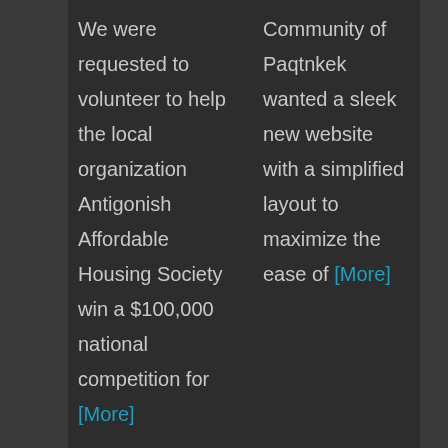We were requested to volunteer to help the local organization Antigonish Affordable Housing Society win a $100,000 national competition for [More]
Community of Paqtnkek wanted a sleek new website with a simplified layout to maximize the ease of [More]